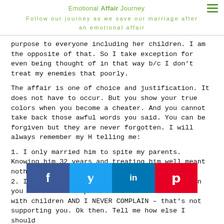Emotional Affair Journey
Follow our journey as we save our marriage after an emotional affair
purpose to everyone including her children. I am the opposite of that. So I take exception for even being thought of in that way b/c I don't treat my enemies that poorly.
The affair is one of choice and justification. It does not have to occur. But you show your true colors when you become a cheater. And you cannot take back those awful words you said. You can be forgiven but they are never forgotten. I will always remember my H telling me:
1. I only married him to spite my parents. Knowing him 32 years and treating him well meant nothing.
2. I did not support his career. Really so when you travel to Europe for 3 weeks and I am ho[me with] children AND I NEVER COMPLAIN – that's not supporting you. Ok then. Tell me how else I should
[Figure (infographic): Social sharing bar with Facebook, Twitter, LinkedIn, and Pinterest buttons]